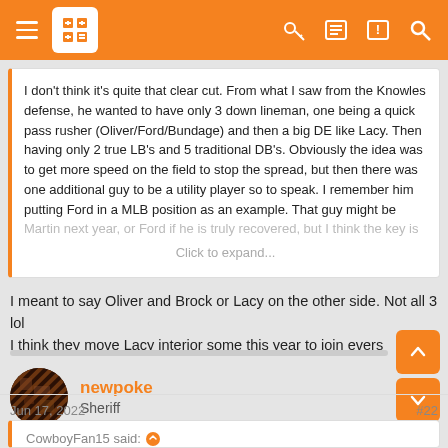Forum navigation header with hamburger menu, logo, and icons
I don't think it's quite that clear cut. From what I saw from the Knowles defense, he wanted to have only 3 down lineman, one being a quick pass rusher (Oliver/Ford/Bundage) and then a big DE like Lacy. Then having only 2 true LB's and 5 traditional DB's. Obviously the idea was to get more speed on the field to stop the spread, but then there was one additional guy to be a utility player so to speak. I remember him putting Ford in a MLB position as an example. That guy might be Martin next year, or Ford if he is truly recovered, but I think the key is
Click to expand...
I meant to say Oliver and Brock or Lacy on the other side. Not all 3 lol
I think they move Lacy interior some this year to join evers
newpoke
Sheriff
Jun 17, 2022
#22
CowboyFan15 said: